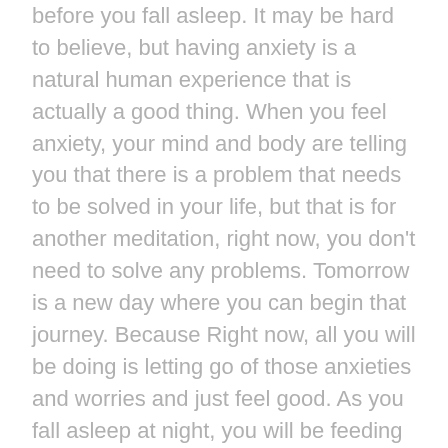before you fall asleep. It may be hard to believe, but having anxiety is a natural human experience that is actually a good thing. When you feel anxiety, your mind and body are telling you that there is a problem that needs to be solved in your life, but that is for another meditation, right now, you don't need to solve any problems. Tomorrow is a new day where you can begin that journey. Because Right now, all you will be doing is letting go of those anxieties and worries and just feel good. As you fall asleep at night, you will be feeding your subconscious mind with these good feelings. Your subconscious is most open to suggestion when you are asleep. That's why it is so important to replace those negative thoughts and worries with joy and gratitude and love and all of those good feelings. When you do this, Instead of waking up having those same feelings of anxiety and dread for the day ahead of you, you will wake up full of joy, full of energy. Those wonderful feelings